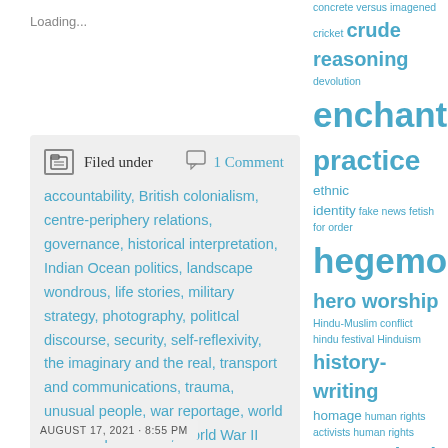Loading...
Filed under | 1 Comment
accountability, British colonialism, centre-periphery relations, governance, historical interpretation, Indian Ocean politics, landscape wondrous, life stories, military strategy, photography, politIcal discourse, security, self-reflexivity, the imaginary and the real, transport and communications, trauma, unusual people, war reportage, world events & processes, World War II and Ceylon
AUGUST 17, 2021 · 8:55 PM
concrete versus imagened cricket crude reasoning devolution enchanted practice ethnic identity fake news fetish for order hegemony hero worship Hindu-Muslim conflict hindu festival Hinduism history-writing homage human rights activists human rights groups Imagined Communities Indian communalism international crisis group international organization for migration Jayampathy Wickramaratna lynching Blacks Mahinda